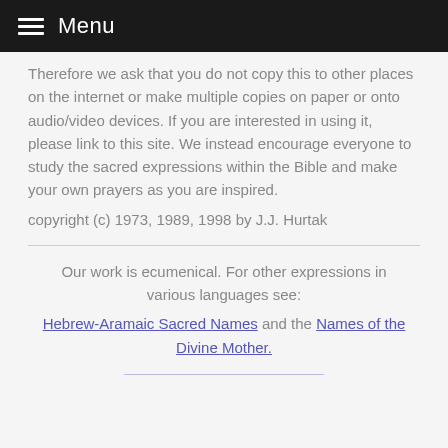Menu
Therefore we ask that you do not copy this to other places on the internet or make multiple copies on paper or onto audio/video devices. If you are interested in using it, please link to this site. We instead encourage everyone to study the sacred expressions within the Bible and make your own prayers as you are inspired.
copyright (c) 1973, 1989, 1998 by J.J. Hurtak
Our work is ecumenical. For other expressions in various languages see:
Hebrew-Aramaic Sacred Names and the Names of the Divine Mother.